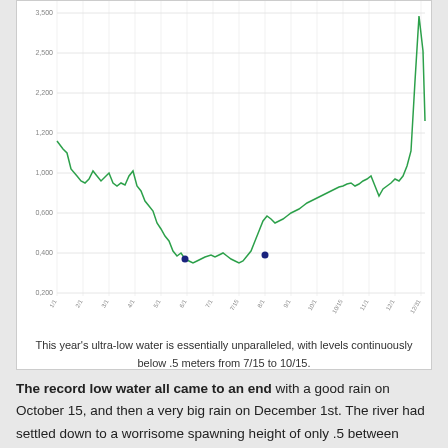[Figure (continuous-plot): Line chart showing river water level in meters over the course of a year. The line starts near 1.200 in early months, drops to ultra-low levels below 0.500 from approximately 7/15 to 10/15, then spikes sharply upward near the end of the period reaching above 3.000.]
This year's ultra-low water is essentially unparalleled, with levels continuously below .5 meters from 7/15 to 10/15.
The record low water all came to an end with a good rain on October 15, and then a very big rain on December 1st. The river had settled down to a worrisome spawning height of only .5 between these events, but the second rain averaged around 100mm or 4 inches over much of the valley. A lot of folks connected with the river feared that the already wet ground would send the Miramichi out of its banks, but thankfully it didn't happen. Largely, I believe, we were spared